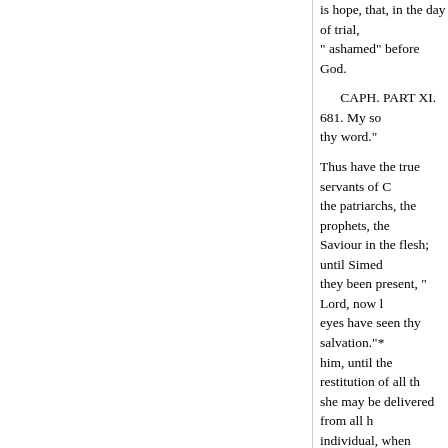is hope, that, in the day of trial, " ashamed" before God.
CAPH. PART XI. 681. My so thy word."
Thus have the true servants of C the patriarchs, the prophets, the Saviour in the flesh; until Simeo they been present, " Lord, now l eyes have seen thy salvation."* him, until the restitution of all th she may be delivered from all h individual, when oppressed by s salvation which is by grace, thr comfort me?"
While the promised salvation is heaven for the accomplishment comfort me? Come, Lord Jesu,
"83. For I am become like a b
" Bottles," among the Jews, w become shrivelled and useless. S Psalmist here complaineth that h